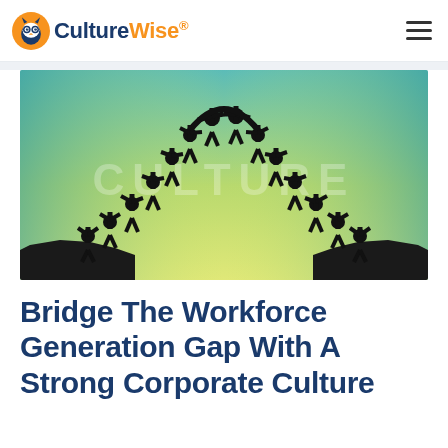CultureWise® — navigation header with logo and hamburger menu
[Figure (illustration): Illustration of silhouetted human figures forming an arch bridge across a gap between two cliffs, with the word CULTURE watermarked in the background. Gradient background from teal/green at top to yellow-green at bottom center.]
Bridge The Workforce Generation Gap With A Strong Corporate Culture